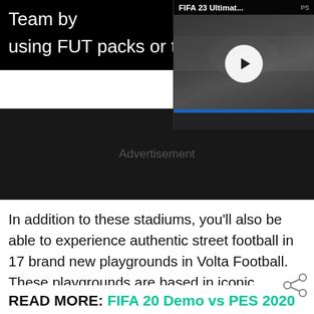Team by using FUT packs or the Tra
[Figure (screenshot): FIFA 23 Ultimate Team video thumbnail with play button overlay and PS logo, showing a black and white football/soccer scene]
Advertisement
In addition to these stadiums, you'll also be able to experience authentic street football in 17 brand new playgrounds in Volta Football. These playgrounds are based in iconic locations from all around the world, such as Amsterdam, Tokyo, Miami, Cape Town and London
READ MORE: FIFA 20 Demo vs PES 2020